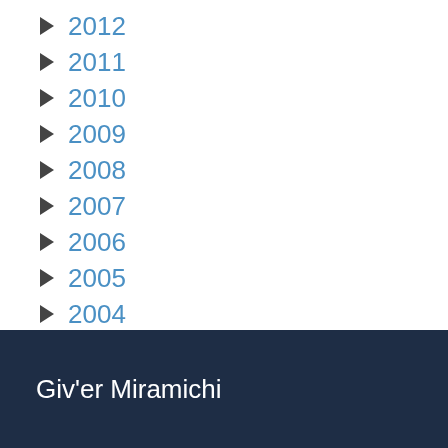2012
2011
2010
2009
2008
2007
2006
2005
2004
2003
Giv'er Miramichi